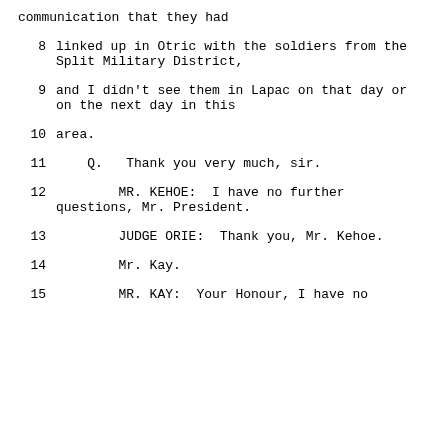communication that they had
8      linked up in Otric with the soldiers from the Split Military District,
9      and I didn't see them in Lapac on that day or on the next day in this
10     area.
11          Q.   Thank you very much, sir.
12               MR. KEHOE:  I have no further questions, Mr. President.
13               JUDGE ORIE:  Thank you, Mr. Kehoe.
14               Mr. Kay.
15               MR. KAY:  Your Honour, I have no